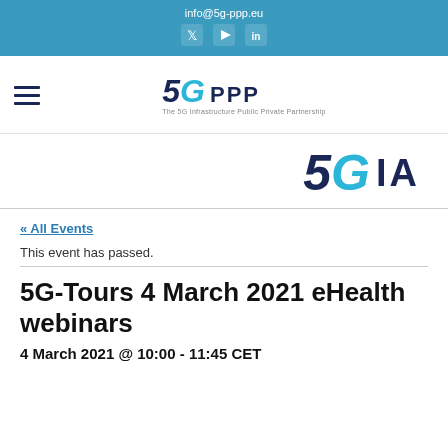info@5g-ppp.eu
[Figure (logo): 5G PPP – The 5G Infrastructure Public Private Partnership logo with hamburger menu icon]
[Figure (logo): 5G IA logo]
« All Events
This event has passed.
5G-Tours 4 March 2021 eHealth webinars
4 March 2021 @ 10:00 - 11:45 CET